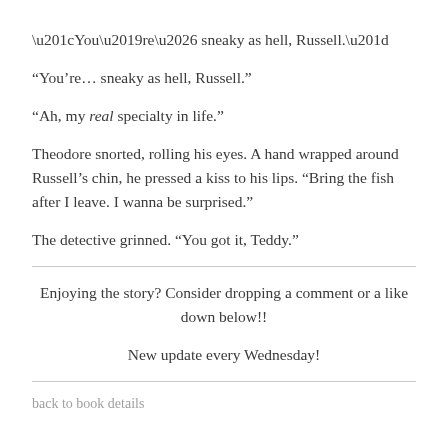“You’re… sneaky as hell, Russell.”
“Ah, my real specialty in life.”
Theodore snorted, rolling his eyes. A hand wrapped around Russell’s chin, he pressed a kiss to his lips. “Bring the fish after I leave. I wanna be surprised.”
The detective grinned. “You got it, Teddy.”
Enjoying the story? Consider dropping a comment or a like down below!!

New update every Wednesday!
back to book details